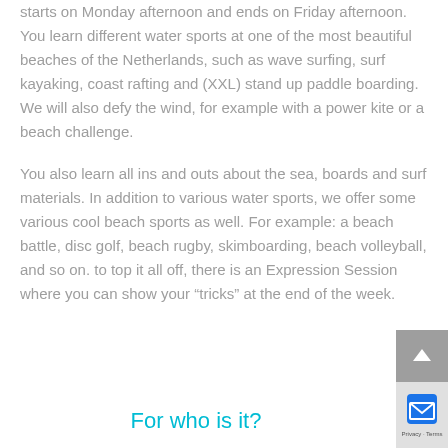starts on Monday afternoon and ends on Friday afternoon. You learn different water sports at one of the most beautiful beaches of the Netherlands, such as wave surfing, surf kayaking, coast rafting and (XXL) stand up paddle boarding. We will also defy the wind, for example with a power kite or a beach challenge.
You also learn all ins and outs about the sea, boards and surf materials. In addition to various water sports, we offer some various cool beach sports as well. For example: a beach battle, disc golf, beach rugby, skimboarding, beach volleyball, and so on. to top it all off, there is an Expression Session where you can show your “tricks” at the end of the week.
For who is it?